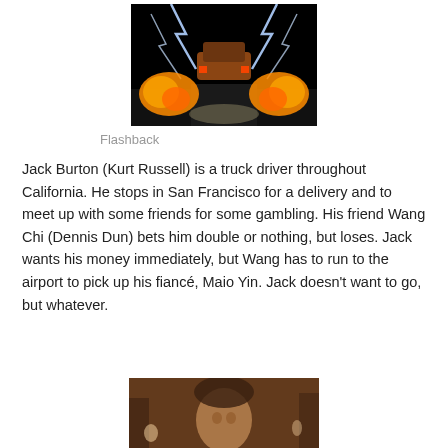[Figure (photo): Back to the Future style DeLorean car with lightning and flames, movie promotional image]
Flashback
Jack Burton (Kurt Russell) is a truck driver throughout California. He stops in San Francisco for a delivery and to meet up with some friends for some gambling. His friend Wang Chi (Dennis Dun) bets him double or nothing, but loses. Jack wants his money immediately, but Wang has to run to the airport to pick up his fiancé, Maio Yin. Jack doesn't want to go, but whatever.
[Figure (photo): Sepia-toned photo of a man, possibly a scene from a movie]